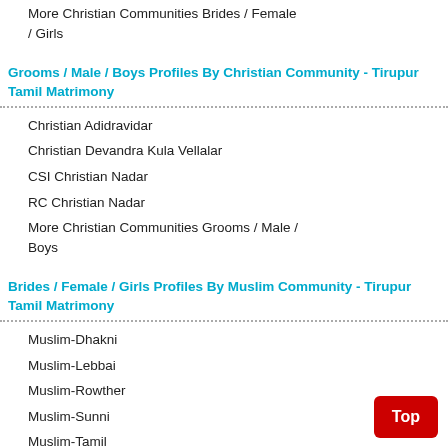More Christian Communities Brides / Female / Girls
Grooms / Male / Boys Profiles By Christian Community - Tirupur Tamil Matrimony
Christian Adidravidar
Christian Devandra Kula Vellalar
CSI Christian Nadar
RC Christian Nadar
More Christian Communities Grooms / Male / Boys
Brides / Female / Girls Profiles By Muslim Community - Tirupur Tamil Matrimony
Muslim-Dhakni
Muslim-Lebbai
Muslim-Rowther
Muslim-Sunni
Muslim-Tamil
Muslim-Urudu
More Muslim Communities Brides / Female / Girls